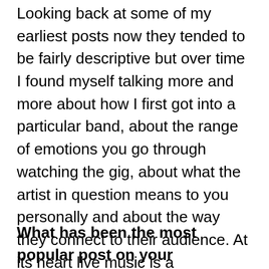Looking back at some of my earliest posts now they tended to be fairly descriptive but over time I found myself talking more and more about how I first got into a particular band, about the range of emotions you go through watching the gig, about what the artist in question means to you personally and about the way they connect to their audience. At its heart live music is a communal and very human experience. Otherwise, you might as well just sit at home and listen to the records. I try to reflect that in my writing.
What has been the most popular post on your